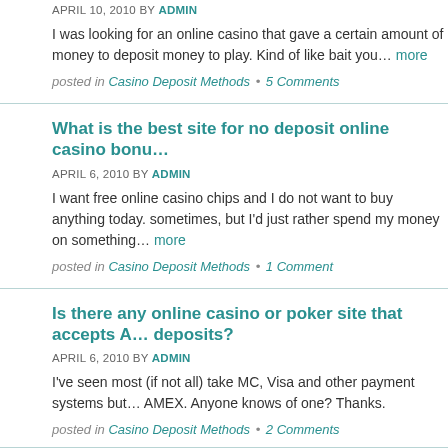APRIL 10, 2010 BY ADMIN
I was looking for an online casino that gave a certain amount of money to deposit money to play. Kind of like bait you… more
posted in Casino Deposit Methods • 5 Comments
What is the best site for no deposit online casino bonu…
APRIL 6, 2010 BY ADMIN
I want free online casino chips and I do not want to buy anything today. sometimes, but I'd just rather spend my money on something… more
posted in Casino Deposit Methods • 1 Comment
Is there any online casino or poker site that accepts A… deposits?
APRIL 6, 2010 BY ADMIN
I've seen most (if not all) take MC, Visa and other payment systems but… AMEX. Anyone knows of one? Thanks.
posted in Casino Deposit Methods • 2 Comments